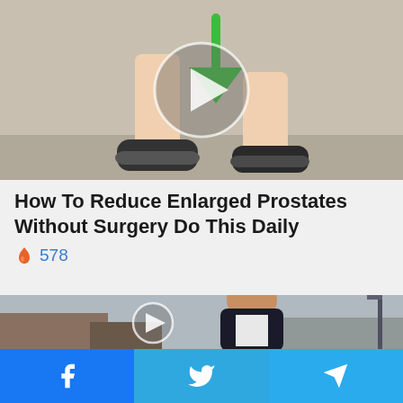[Figure (illustration): Illustration showing legs/feet in sneakers with a green downward arrow, medical/exercise themed image. Play button overlay circle in center.]
How To Reduce Enlarged Prostates Without Surgery Do This Daily
🔥 578
[Figure (photo): Photo of a woman smiling in a dark jacket outdoors near industrial buildings. A play button circle overlay is centered on the image.]
Facebook | Twitter | Telegram social share buttons